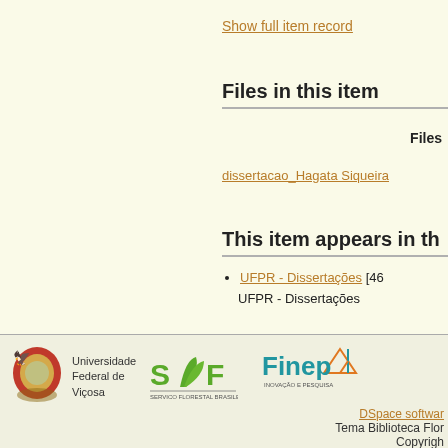Show full item record
Files in this item
Files
dissertacao_Hagata Siqueira
This item appears in th
UFPR - Dissertações [46
UFPR - Dissertações
[Figure (logo): Universidade Federal de Viçosa coat of arms and text logo]
[Figure (logo): SIF logo - green stylized plant/leaf icon with text]
[Figure (logo): Finep logo - orange/teal brand with triangle icon]
DSpace softwar
Tema Biblioteca Flor
Copyrigh